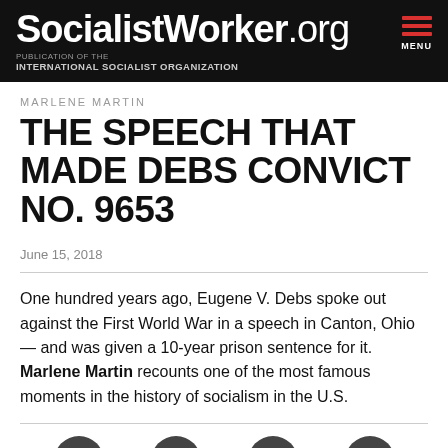SocialistWorker.org — PUBLICATION OF THE INTERNATIONAL SOCIALIST ORGANIZATION
MARLENE MARTIN
THE SPEECH THAT MADE DEBS CONVICT NO. 9653
June 15, 2018
One hundred years ago, Eugene V. Debs spoke out against the First World War in a speech in Canton, Ohio — and was given a 10-year prison sentence for it. Marlene Martin recounts one of the most famous moments in the history of socialism in the U.S.